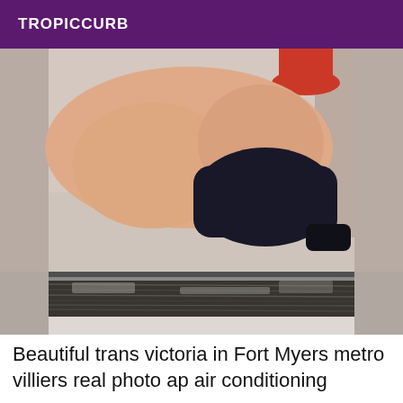TROPICCURB
[Figure (photo): A photo of a person sitting on what appears to be a couch or seat, showing legs and dark shorts/clothing. A dark textured horizontal stripe is visible at the bottom of the image, possibly a table edge or step.]
Beautiful trans victoria in Fort Myers metro villiers real photo ap air conditioning